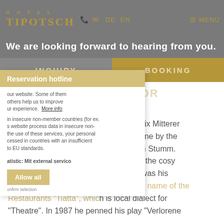HOTEL TIPOTSCH | DE EN | MENU
We are looking forward to hearing from you.
INQUIRY | BOOKING
Reservation hotline
GATHERING PLACE FOR ARTISTS
When renowned novelist and actor Felix Mitterer visits his Tyrolean home he likes to come by the Restaurant Tiatta and Hotel Tipotsch in Stumm. Mitterer appreciates the cosy atmosphere and the hearty cuisine; it was his passion for acting that has inspired the name of the Restaurants “Tiatta”, which is local dialect for “Theatre”. In 1987 he penned his play “Verlorene
our website. Some of them others help us to improve ur experience. More info
in insecure non-member countries (for ex. s website process data in insecure non- the use of these services, your personal cessed in countries with an insufficient to EU standards.
atistic: Mit external servico
Allow all
onfirm selection